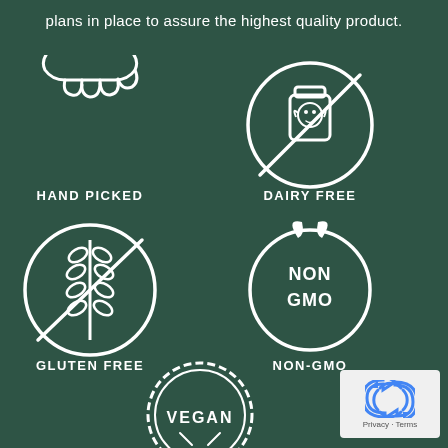plans in place to assure the highest quality product.
[Figure (illustration): Four product certification icons on dark green background: Hand Picked (hand holding plant), Dairy Free (milk bottle with cross), Gluten Free (wheat with prohibition circle), Non-GMO (circular badge with leaves and NON GMO text), and Vegan (circular stamp badge at bottom)]